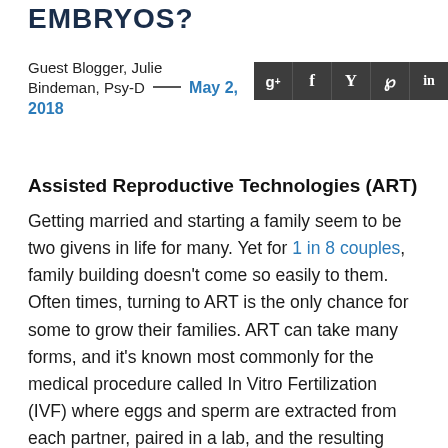EMBRYOS?
Guest Blogger, Julie Bindeman, Psy-D   May 2, 2018
Assisted Reproductive Technologies (ART)
Getting married and starting a family seem to be two givens in life for many. Yet for 1 in 8 couples, family building doesn't come so easily to them. Often times, turning to ART is the only chance for some to grow their families. ART can take many forms, and it's known most commonly for the medical procedure called In Vitro Fertilization (IVF) where eggs and sperm are extracted from each partner, paired in a lab, and the resulting embryo is then transferred back into the uterus. Only 40 years ago, this idea was